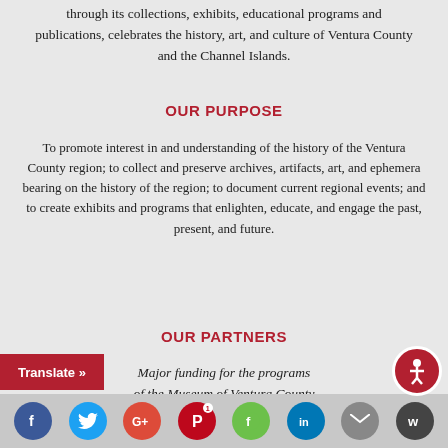through its collections, exhibits, educational programs and publications, celebrates the history, art, and culture of Ventura County and the Channel Islands.
OUR PURPOSE
To promote interest in and understanding of the history of the Ventura County region; to collect and preserve archives, artifacts, art, and ephemera bearing on the history of the region; to document current regional events; and to create exhibits and programs that enlighten, educate, and engage the past, present, and future.
OUR PARTNERS
Major funding for the programs of the Museum of Ventura County is made possible by